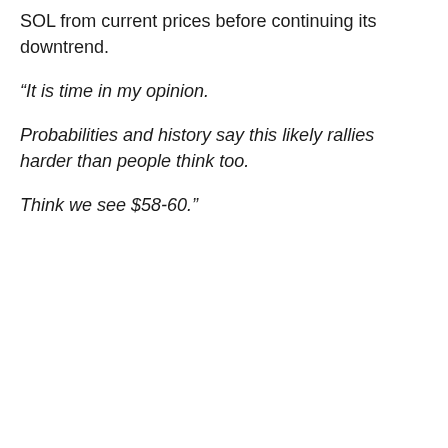SOL from current prices before continuing its downtrend.
“It is time in my opinion.
Probabilities and history say this likely rallies harder than people think too.
Think we see $58-60.”